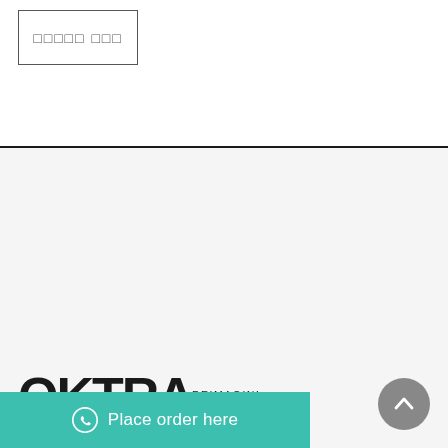[Figure (other): Placeholder box with non-Latin/square characters (appears as boxes due to missing font glyphs)]
[Figure (logo): OKTRA REIMAGINE REALITY logo in bold black sans-serif text]
LINKS
Home
Shop
[Figure (other): Place order here button with WhatsApp icon in teal/green color]
[Figure (other): Back to top circular grey button with upward chevron arrow]